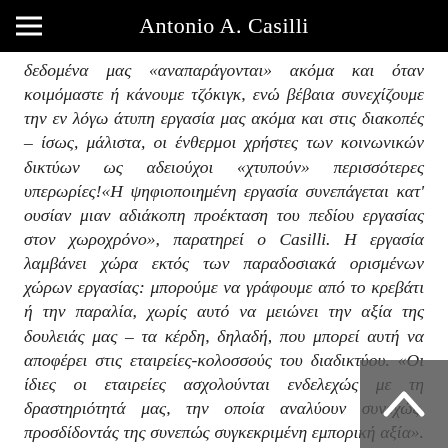Antonio A. Casilli
δεδομένα μας «αναπαράγονται» ακόμα και όταν κοιμόμαστε ή κάνουμε τζόκιγκ, ενώ βέβαια συνεχίζουμε την εν λόγω άτυπη εργασία μας ακόμα και στις διακοπές – ίσως, μάλιστα, οι ένθερμοι χρήστες των κοινωνικών δικτύων ως αδειούχοι «χτυπούν» περισσότερες υπερωρίες!«Η ψηφιοποιημένη εργασία συνεπάγεται κατ' ουσίαν μιαν αδιάκοπη προέκταση του πεδίου εργασίας στον χωροχρόνο», παρατηρεί ο Casilli. Η εργασία λαμβάνει χώρα εκτός των παραδοσιακά ορισμένων χώρων εργασίας: μπορούμε να γράφουμε από το κρεβάτι ή την παραλία, χωρίς αυτό να μειώνει την αξία της δουλειάς μας – τα κέρδη, δηλαδή, που μπορεί αυτή να αποφέρει στις εταιρείες-κολοσσούς του διαδικτύου. «Οι ίδιες οι εταιρείες ασχολούνται ενδελεχώς με τη δραστηριότητά μας, την οποία αναλύουν συνεχώς, προσδίδοντάς της συνεπώς συγκεκριμένη εμπορική αξία». Αυτό